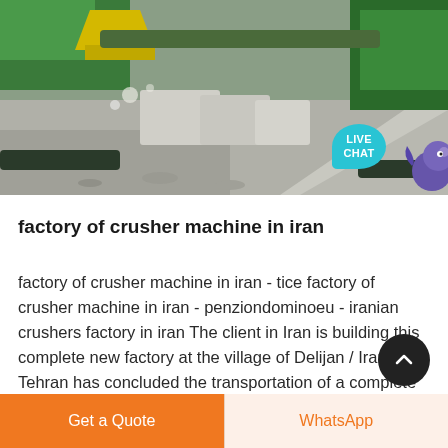[Figure (photo): Photograph of a crusher machine in operation, showing green heavy machinery crushing rocks/gravel with stone blocks in the background. A 'LIVE CHAT' bubble appears in the bottom-right corner of the image.]
factory of crusher machine in iran
factory of crusher machine in iran - tice factory of crusher machine in iran - penziondominoeu - iranian crushers factory in iran The client in Iran is building this complete new factory at the village of Delijan / Iran Tehran has concluded the transportation of a complete crusher plant from as the cement machinery to be supplied by FL zenith of Copenhagen
Get a Quote   WhatsApp